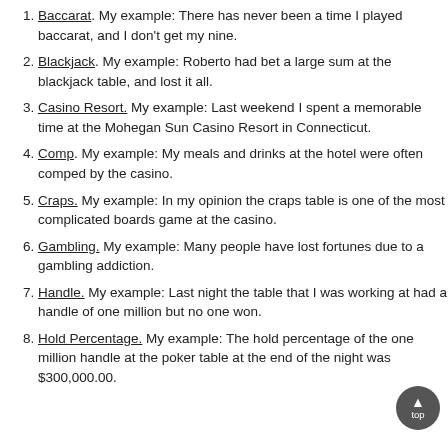Baccarat. My example: There has never been a time I played baccarat, and I don't get my nine.
Blackjack. My example: Roberto had bet a large sum at the blackjack table, and lost it all.
Casino Resort. My example: Last weekend I spent a memorable time at the Mohegan Sun Casino Resort in Connecticut.
Comp. My example: My meals and drinks at the hotel were often comped by the casino.
Craps. My example: In my opinion the craps table is one of the most complicated boards game at the casino.
Gambling. My example: Many people have lost fortunes due to a gambling addiction.
Handle. My example: Last night the table that I was working at had a handle of one million but no one won.
Hold Percentage. My example: The hold percentage of the one million handle at the poker table at the end of the night was $300,000.00.